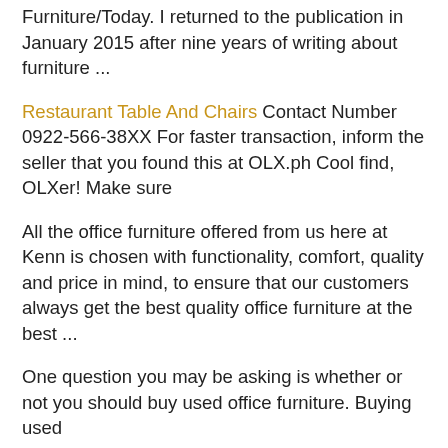Furniture/Today. I returned to the publication in January 2015 after nine years of writing about furniture ...
Restaurant Table And Chairs Contact Number 0922-566-38XX For faster transaction, inform the seller that you found this at OLX.ph Cool find, OLXer! Make sure
All the office furniture offered from us here at Kenn is chosen with functionality, comfort, quality and price in mind, to ensure that our customers always get the best quality office furniture at the best ...
One question you may be asking is whether or not you should buy used office furniture. Buying used